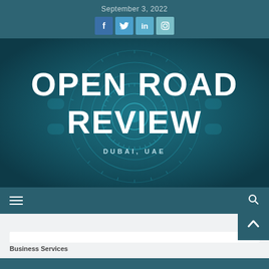September 3, 2022
[Figure (infographic): Social media icons: Facebook, Twitter, LinkedIn, Instagram in blue square buttons]
[Figure (infographic): Hero banner image with circular technology HUD graphic on dark teal background. Large white bold text reads: OPEN ROAD REVIEW. Below in smaller spaced caps: DUBAI, UAE]
[Figure (infographic): Navigation bar with hamburger menu icon on left and search icon on right, on dark teal background]
[Figure (infographic): Back to top button: dark teal square with upward arrow chevron, positioned at top-right of bottom section]
Business Services